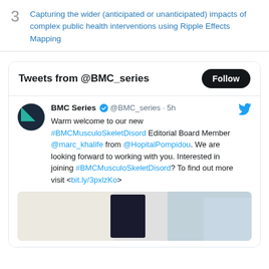3  Capturing the wider (anticipated or unanticipated) impacts of complex public health interventions using Ripple Effects Mapping
Tweets from @BMC_series
BMC Series @BMC_series · 5h  Warm welcome to our new #BMCMusculoSkeletDisord Editorial Board Member @marc_khalife from @HopitalPompidou. We are looking forward to working with you. Interested in joining #BMCMusculoSkeletDisord? To find out more visit <bit.ly/3pxlzKo>
[Figure (photo): Partial preview image of a medical/clinical photo showing what appears to be a screen/tablet and a person in medical attire]